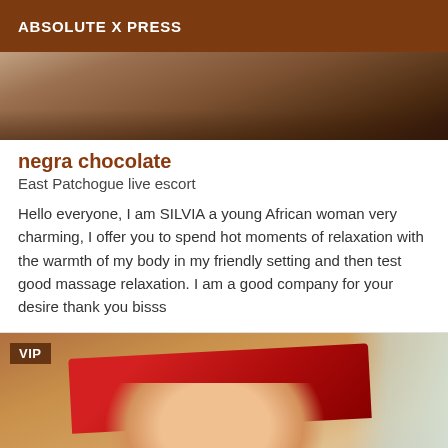ABSOLUTE X PRESS
[Figure (photo): Partial photo cropped at top, showing dark clothing/body against light background]
negra chocolate
East Patchogue live escort
Hello everyone, I am SILVIA a young African woman very charming, I offer you to spend hot moments of relaxation with the warmth of my body in my friendly setting and then test good massage relaxation. I am a good company for your desire thank you bisss
[Figure (photo): Photo of a woman wearing a red NY baseball cap and blonde hair, with a wooden wall background and door visible. VIP badge in top left corner.]